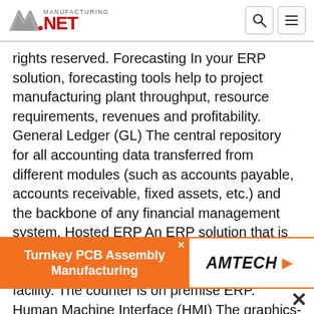Manufacturing.net logo with search and menu icons
rights reserved. Forecasting In your ERP solution, forecasting tools help to project manufacturing plant throughput, resource requirements, revenues and profitability. General Ledger (GL) The central repository for all accounting data transferred from different modules (such as accounts payable, accounts receivable, fixed assets, etc.) and the backbone of any financial management system. Hosted ERP An ERP solution that is installed, managed and run at a remote site, such as a server farm or your ERP vendor’s facility. The counter is on premise ERP. Human Machine Interface (HMI) The graphics-based user interface of a manufacturing or process plant’s computer system through which your
[Figure (other): Advertisement banner: Turnkey PCB Assembly Manufacturing by AMTECH with orange background on left and white background with AMTECH logo on right]